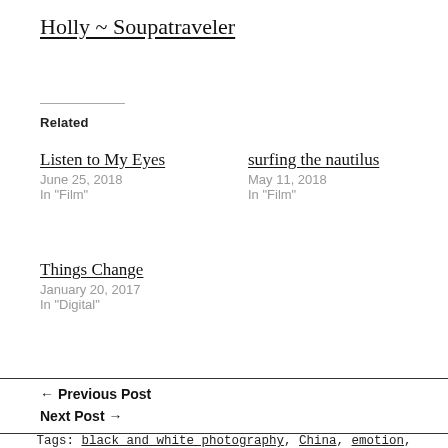Holly ~ Soupatraveler
Related
Listen to My Eyes
June 25, 2018
In "Film"
surfing the nautilus
May 11, 2018
In "Film"
Things Change
January 20, 2017
In "Digital"
← Previous Post
Next Post →
Tags: black and white photography, China, emotion, Holly Clark, street photography / Category: Mobile, Travel